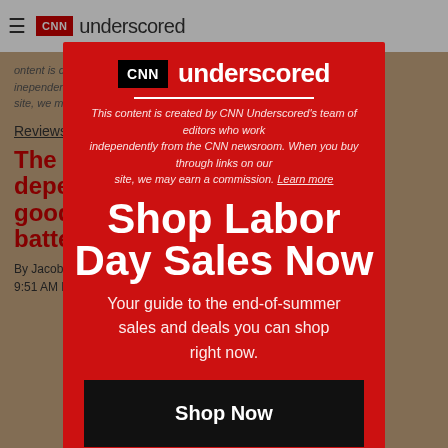CNN Underscored
This content is created by CNN Underscored's team of editors who work independently from the CNN newsroom. When you buy through links on our site, we may earn a commission. Learn more
Reviews
The best dependable phone with good cameras and long battery life under $199.99
By Jacob Krol
9:51 AM EDT, Thu June 1...9:20
[Figure (screenshot): CNN Underscored modal popup overlay with red background. Contains CNN Underscored logo, italic disclaimer text, large white headline 'Shop Labor Day Sales Now', subheading 'Your guide to the end-of-summer sales and deals you can shop right now.', a black 'Shop Now' button, and a white-outlined 'No, Thanks' button.]
Shop Labor Day Sales Now
Your guide to the end-of-summer sales and deals you can shop right now.
Shop Now
No, Thanks